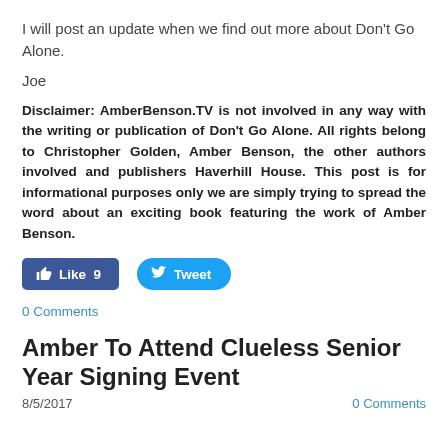I will post an update when we find out more about Don't Go Alone.
Joe
Disclaimer: AmberBenson.TV is not involved in any way with the writing or publication of Don't Go Alone. All rights belong to Christopher Golden, Amber Benson, the other authors involved and publishers Haverhill House. This post is for informational purposes only we are simply trying to spread the word about an exciting book featuring the work of Amber Benson.
[Figure (other): Social sharing buttons: Facebook Like (9) and Tweet]
0 Comments
Amber To Attend Clueless Senior Year Signing Event
8/5/2017
0 Comments